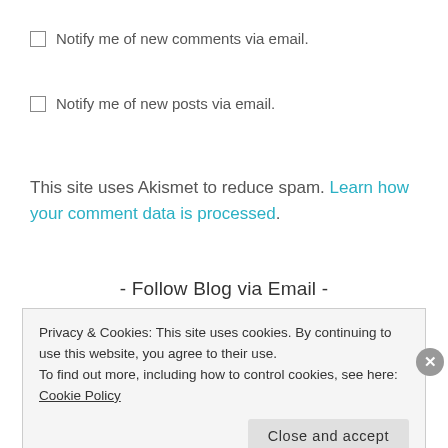Notify me of new comments via email.
Notify me of new posts via email.
This site uses Akismet to reduce spam. Learn how your comment data is processed.
- Follow Blog via Email -
Privacy & Cookies: This site uses cookies. By continuing to use this website, you agree to their use.
To find out more, including how to control cookies, see here: Cookie Policy
Close and accept